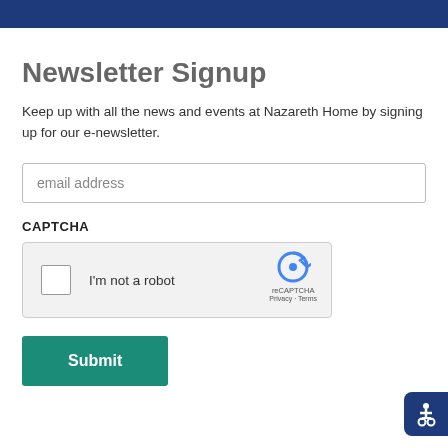Newsletter Signup
Keep up with all the news and events at Nazareth Home by signing up for our e-newsletter.
email address
CAPTCHA
[Figure (screenshot): reCAPTCHA widget with checkbox and 'I'm not a robot' text, reCAPTCHA logo, Privacy and Terms links]
Submit
[Figure (illustration): Accessibility icon (wheelchair symbol) in blue rounded rectangle]